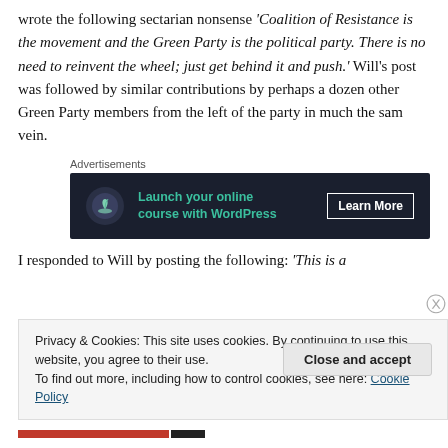wrote the following sectarian nonsense ‘Coalition of Resistance is the movement and the Green Party is the political party. There is no need to reinvent the wheel; just get behind it and push.’ Will’s post was followed by similar contributions by perhaps a dozen other Green Party members from the left of the party in much the sam vein.
[Figure (infographic): Advertisement banner: dark background with tree/bonsai icon, green text 'Launch your online course with WordPress', white 'Learn More' button]
I responded to Will by posting the following: ‘This is a
Privacy & Cookies: This site uses cookies. By continuing to use this website, you agree to their use.
To find out more, including how to control cookies, see here: Cookie Policy
Close and accept